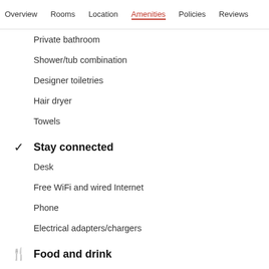Overview  Rooms  Location  Amenities  Policies  Reviews
Private bathroom
Shower/tub combination
Designer toiletries
Hair dryer
Towels
Stay connected
Desk
Free WiFi and wired Internet
Phone
Electrical adapters/chargers
Food and drink
Champagne service
Free bottled water
More